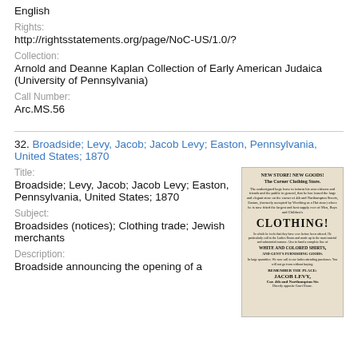English
Rights:
http://rightsstatements.org/page/NoC-US/1.0/?
Collection:
Arnold and Deanne Kaplan Collection of Early American Judaica (University of Pennsylvania)
Call Number:
Arc.MS.56
32. Broadside; Levy, Jacob; Jacob Levy; Easton, Pennsylvania, United States; 1870
Title:
Broadside; Levy, Jacob; Jacob Levy; Easton, Pennsylvania, United States; 1870
Subject:
Broadsides (notices); Clothing trade; Jewish merchants
Description:
Broadside announcing the opening of a
[Figure (photo): Photograph of a historical broadside advertisement for 'New Store! New Goods! The Corner Clothing Store' by Jacob Levy, Cor. 4th and Northampton Sts, featuring large text advertising CLOTHING! and WHITE AND COLORED SHIRTS]